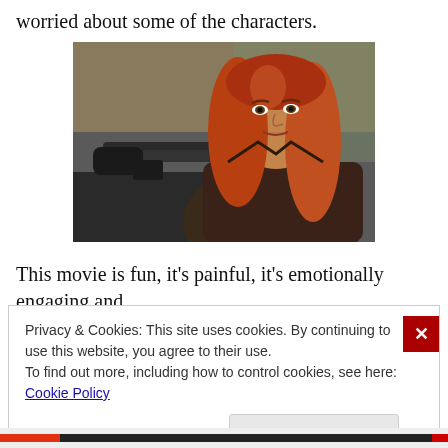worried about some of the characters.
[Figure (photo): A woman with long red hair holding an assault rifle, wearing a dark brown leather jacket, looking to the side — appears to be a movie still, likely Black Widow from a superhero film.]
This movie is fun, it's painful, it's emotionally engaging and
Privacy & Cookies: This site uses cookies. By continuing to use this website, you agree to their use.
To find out more, including how to control cookies, see here: Cookie Policy
Close and accept